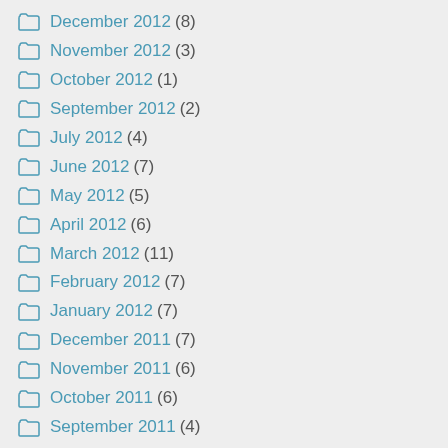December 2012 (8)
November 2012 (3)
October 2012 (1)
September 2012 (2)
July 2012 (4)
June 2012 (7)
May 2012 (5)
April 2012 (6)
March 2012 (11)
February 2012 (7)
January 2012 (7)
December 2011 (7)
November 2011 (6)
October 2011 (6)
September 2011 (4)
August 2011 (4)